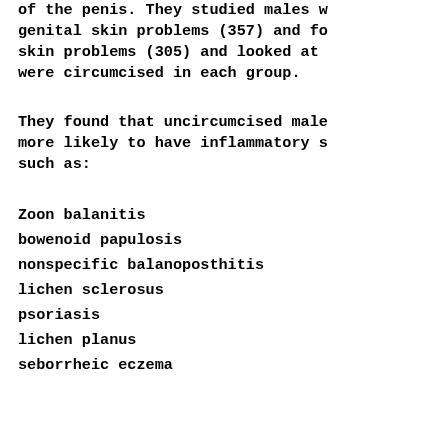of the penis. They studied males with genital skin problems (357) and for skin problems (305) and looked at how were circumcised in each group.
They found that uncircumcised males more likely to have inflammatory sk such as:
Zoon balanitis
bowenoid papulosis
nonspecific balanoposthitis
lichen sclerosus
psoriasis
lichen planus
seborrheic eczema